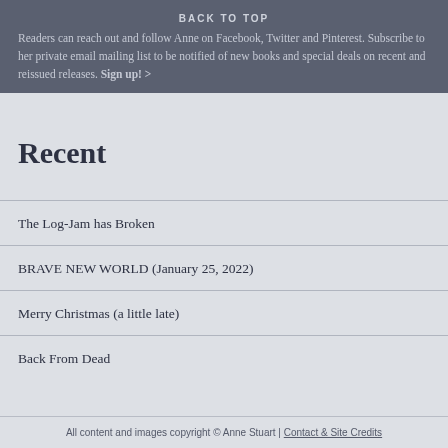BACK TO TOP
Readers can reach out and follow Anne on Facebook, Twitter and Pinterest. Subscribe to her private email mailing list to be notified of new books and special deals on recent and reissued releases. Sign up! >
Recent
The Log-Jam has Broken
BRAVE NEW WORLD (January 25, 2022)
Merry Christmas (a little late)
Back From Dead
All content and images copyright © Anne Stuart | Contact & Site Credits